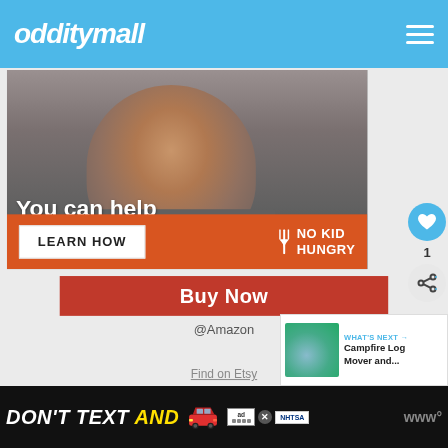odditymall
[Figure (photo): No Kid Hungry advertisement showing a young boy eating, with text 'You can help hungry kids.' and an orange bar with 'LEARN HOW' button and No Kid Hungry logo]
[Figure (screenshot): Red 'Buy Now' button]
@Amazon
Find on Etsy
[Figure (other): WHAT'S NEXT panel with Campfire Log Mover thumbnail and text]
DON'T TEXT AND [car emoji] ad NHTSA